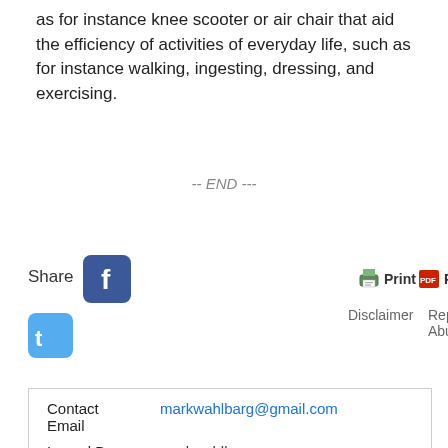as for instance knee scooter or air chair that aid the efficiency of activities of everyday life, such as for instance walking, ingesting, dressing, and exercising.
-- END ---
[Figure (screenshot): Share buttons: Facebook and Twitter icons on left; Print, PDF, Email action buttons on right; Disclaimer and Report Abuse links below]
| Contact
Email | markwahlbarg@gmail.com |
| Issued By | markwahlbarg |
| Country | United States |
| Categories | Business |
| Last
Updated | July 29, 2020 |